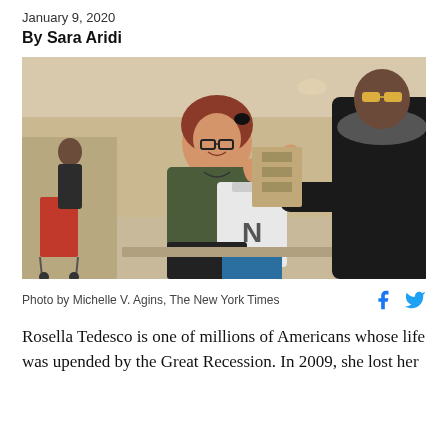January 9, 2020
By Sara Aridi
[Figure (photo): A woman with red hair and glasses, wearing a dark green t-shirt, handing a white plastic bag to a person in a black puffy jacket with fur collar and yellow sunglasses. They appear to be at a food distribution or pantry event inside a large hall. In the background, another person with a red shopping cart is visible.]
Photo by Michelle V. Agins, The New York Times
Rosella Tedesco is one of millions of Americans whose life was upended by the Great Recession. In 2009, she lost her